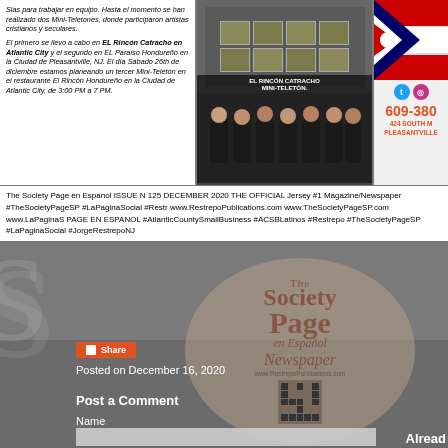[Figure (photo): Article text box in Spanish about Mini-Teletones events, with italic text mentioning EL Rincon Catracho en Atlantic City and El Paraiso Hondureño en la Ciudad de Pleasantville, NJ, and a planned third Mini-Teletón on December 26th.]
[Figure (photo): Two stacked photos: top shows boxes/donations labeled EL RINCON CATRACHO MINI-TELETON, bottom shows a group of people in black t-shirts.]
[Figure (photo): Partial advertisement showing phone number 609-380, address 424 SOUTH M... PLEASANTVILLE, with social media icons for Twitter and Instagram.]
The Society Page en Espanol ISSUE N 125 DECEMBER 2020 THE OFFICIAL Jersey #1 Magazine/Newspaper #TheSocietyPageSP #LaPaginaSocial #Restr www.RestrepoPublications.com www.TheSocietyPageSP.com www.LaPaginaS PAGE EN ESPANOL #AtlanticCountySmallBusiness #ACSBLatinos #Restrepo #TheSocietyPageSP #LaPaginaSocial #JorgeRestrepoNJ
[Figure (logo): Circular watermark logo for The Society Page en Español Newspaper, www.RestrepoPublications.com, with QR code]
Posted on December 16, 2020
Post a Comment
Name
Already